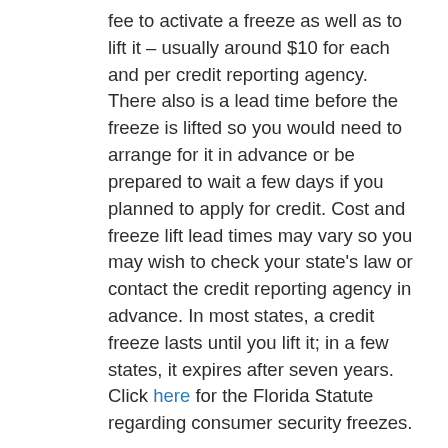fee to activate a freeze as well as to lift it – usually around $10 for each and per credit reporting agency. There also is a lead time before the freeze is lifted so you would need to arrange for it in advance or be prepared to wait a few days if you planned to apply for credit. Cost and freeze lift lead times may vary so you may wish to check your state's law or contact the credit reporting agency in advance. In most states, a credit freeze lasts until you lift it; in a few states, it expires after seven years. Click here for the Florida Statute regarding consumer security freezes.
A credit freeze may not prevent misuse of your current accounts or other types of identity theft, such as tax refund